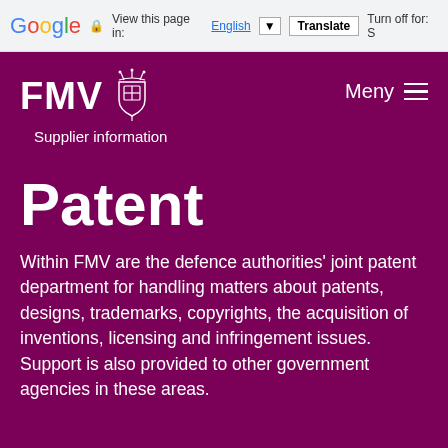Google  View this page in: English  Translate  Turn off for: S
[Figure (logo): FMV logo with emblem and crown icon in white on purple background]
Supplier information
Meny
Patent
Within FMV are the defence authorities' joint patent department for handling matters about patents, designs, trademarks, copyrights, the acquisition of inventions, licensing and infringement issues. Support is also provided to other government agencies in these areas.